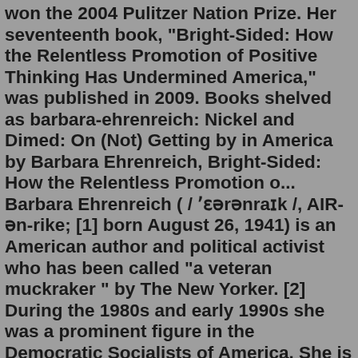won the 2004 Pulitzer Nation Prize. Her seventeenth book, "Bright-Sided: How the Relentless Promotion of Positive Thinking Has Undermined America," was published in 2009. Books shelved as barbara-ehrenreich: Nickel and Dimed: On (Not) Getting by in America by Barbara Ehrenreich, Bright-Sided: How the Relentless Promotion o... Barbara Ehrenreich ( / ˈɛərənraɪk /, AIR-ən-rike; [1] born August 26, 1941) is an American author and political activist who has been called "a veteran muckraker " by The New Yorker. [2] During the 1980s and early 1990s she was a prominent figure in the Democratic Socialists of America. She is a widely read and award-winning columnist and ...Barbara Ehrenreich is the author of fourteen books, including This Land Is Their Land and the New York Times bestsellers Bait and Switch and Fear of Falling.A frequent contributor to Harper's and The Nation, she has also been a columnist at The New York Times and Time magazine. Books shelved as barbara-ehrenreich: Nickel and Dimed: On (Not) Getting by in America by